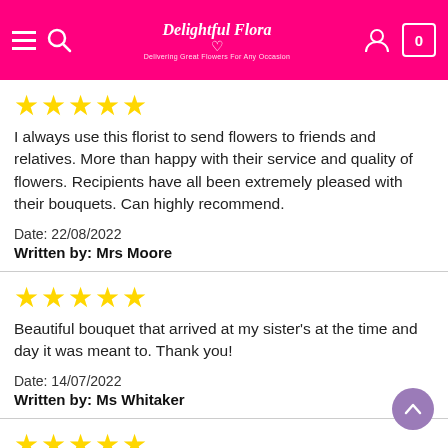Delightful Flora – Delivering Great Flowers For Any Occasion – Navigation header with hamburger menu, search, logo, user icon, cart (0)
I always use this florist to send flowers to friends and relatives. More than happy with their service and quality of flowers. Recipients have all been extremely pleased with their bouquets. Can highly recommend.
Date: 22/08/2022
Written by: Mrs Moore
Beautiful bouquet that arrived at my sister's at the time and day it was meant to. Thank you!
Date: 14/07/2022
Written by: Ms Whitaker